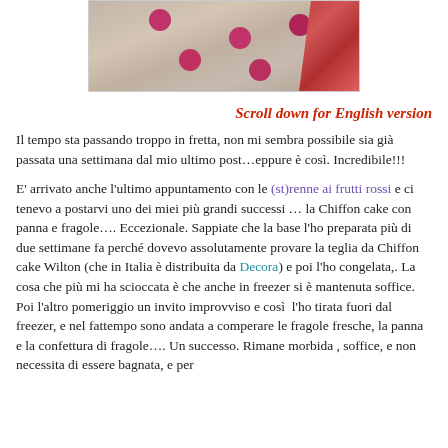[Figure (photo): Close-up photo of a decorated cake with cream/frosting ridges and red raspberry/strawberry decorations]
Scroll down for English version
Il tempo sta passando troppo in fretta, non mi sembra possibile sia già passata una settimana dal mio ultimo post…eppure è così. Incredibile!!!
E' arrivato anche l'ultimo appuntamento con le (st)renne ai frutti rossi e ci tenevo a postarvi uno dei miei più grandi successi … la Chiffon cake con panna e fragole…. Eccezionale. Sappiate che la base l'ho preparata più di due settimane fa perché dovevo assolutamente provare la teglia da Chiffon cake Wilton (che in Italia è distribuita da Decora) e poi l'ho congelata,. La cosa che più mi ha scioccata è che anche in freezer si è mantenuta soffice. Poi l'altro pomeriggio un invito improvviso e così l'ho tirata fuori dal freezer, e nel fattempo sono andata a comperare le fragole fresche, la panna e la confettura di fragole…. Un successo. Rimane morbida , soffice, e non necessita di essere bagnata, e per